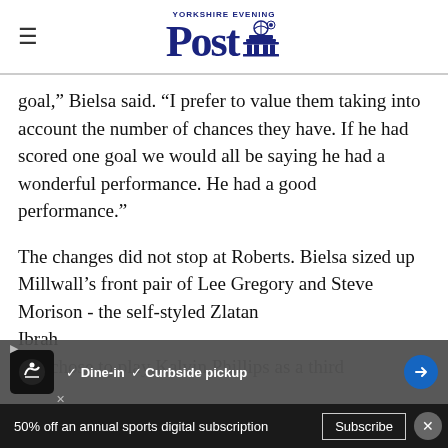Yorkshire Evening Post
goal,” Bielsa said. “I prefer to value them taking into account the number of chances they have. If he had scored one goal we would all be saying he had a wonderful performance. He had a good performance.”
The changes did not stop at Roberts. Bielsa sized up Millwall’s front pair of Lee Gregory and Steve Morison - the self-styled Zlatan Ibrah… - and chose to play Kalvin Phillips as a third
[Figure (screenshot): Advertisement banner overlay showing a restaurant ad with dine-in and curbside pickup options]
[Figure (screenshot): Subscription bar at bottom: 50% off an annual sports digital subscription with Subscribe button]